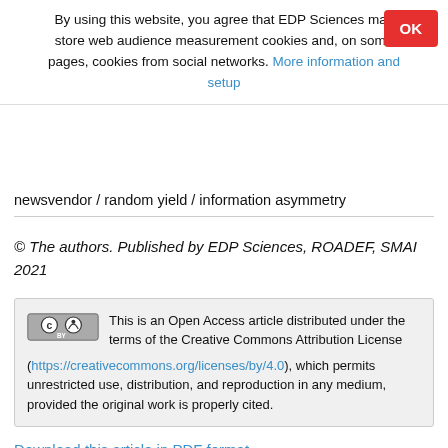By using this website, you agree that EDP Sciences may store web audience measurement cookies and, on some pages, cookies from social networks. More information and setup
newsvendor / random yield / information asymmetry
© The authors. Published by EDP Sciences, ROADEF, SMAI 2021
This is an Open Access article distributed under the terms of the Creative Commons Attribution License (https://creativecommons.org/licenses/by/4.0), which permits unrestricted use, distribution, and reproduction in any medium, provided the original work is properly cited.
Download this article in PDF format